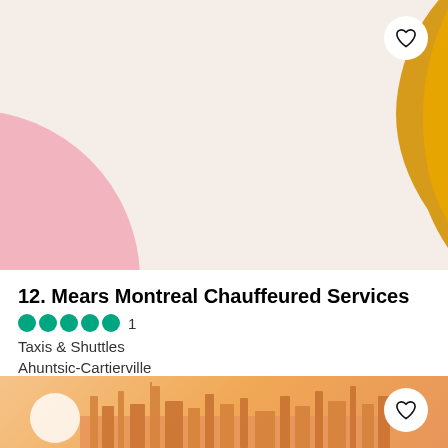[Figure (illustration): Top card with beige/pink background, golden blob top-right, pink semicircle bottom-left, white heart button top-right]
12. Mears Montreal Chauffeured Services
●●●●● 1
Taxis & Shuttles
Ahuntsic-Cartierville
[Figure (illustration): Bottom card with warm orange gradient background, city skyline silhouette, sun circle, white heart button]